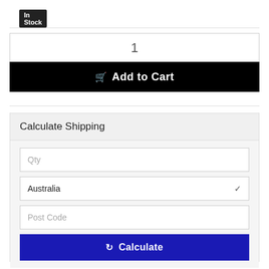In Stock
1
Add to Cart
Calculate Shipping
Qty
Australia
Post Code
Calculate